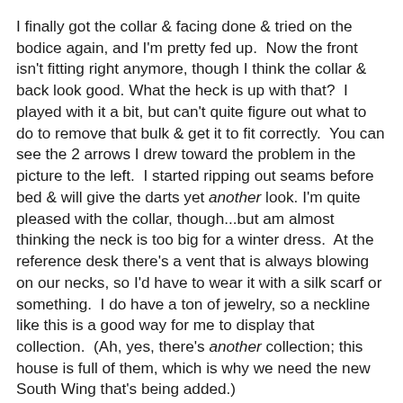I finally got the collar & facing done & tried on the bodice again, and I'm pretty fed up.  Now the front isn't fitting right anymore, though I think the collar & back look good. What the heck is up with that?  I played with it a bit, but can't quite figure out what to do to remove that bulk & get it to fit correctly.  You can see the 2 arrows I drew toward the problem in the picture to the left.  I started ripping out seams before bed & will give the darts yet another look. I'm quite pleased with the collar, though...but am almost thinking the neck is too big for a winter dress.  At the reference desk there's a vent that is always blowing on our necks, so I'd have to wear it with a silk scarf or something.  I do have a ton of jewelry, so a neckline like this is a good way for me to display that collection.  (Ah, yes, there's another collection; this house is full of them, which is why we need the new South Wing that's being added.)
I am going to give it another try.  Or maybe not.  I will see how I feel in the morning after yoga class & a trip to Heidelberg Bakery!
I took a look through some other vintage patterns I got from